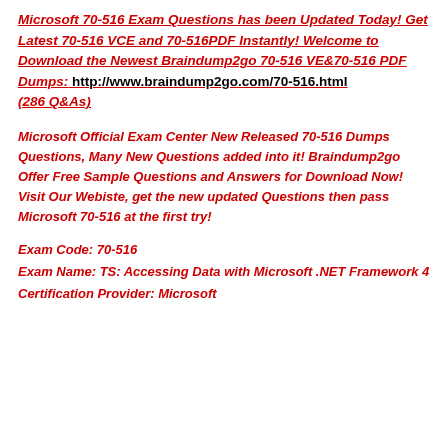Microsoft 70-516 Exam Questions has been Updated Today! Get Latest 70-516 VCE and 70-516PDF Instantly! Welcome to Download the Newest Braindump2go 70-516 VE&70-516 PDF Dumps: http://www.braindump2go.com/70-516.html (286 Q&As)
Microsoft Official Exam Center New Released 70-516 Dumps Questions, Many New Questions added into it! Braindump2go Offer Free Sample Questions and Answers for Download Now! Visit Our Webiste, get the new updated Questions then pass Microsoft 70-516 at the first try!
Exam Code: 70-516
Exam Name: TS: Accessing Data with Microsoft .NET Framework 4
Certification Provider: Microsoft